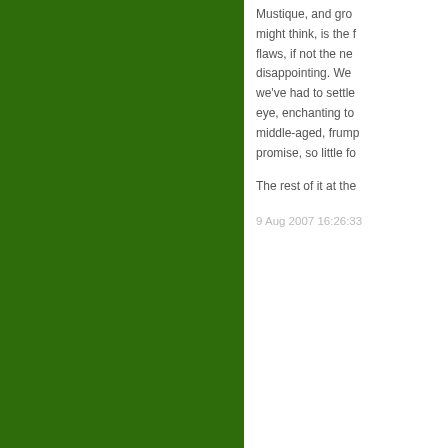Mustique, and grown... might think, is the f... flaws, if not the nec... disappointing. We h... we've had to settle... eye, enchanting to... middle-aged, frump... promise, so little fo...
The rest of it at the...
9 Aug 2007 16:26:33
[Figure (other): Green comment/action button with speech bubble icon and text 'Com...']
Like Flies
Like flies, dammit.
As it happens I've b... tonight L'Eclisse wa... movies to discover... cinema (the Acade...